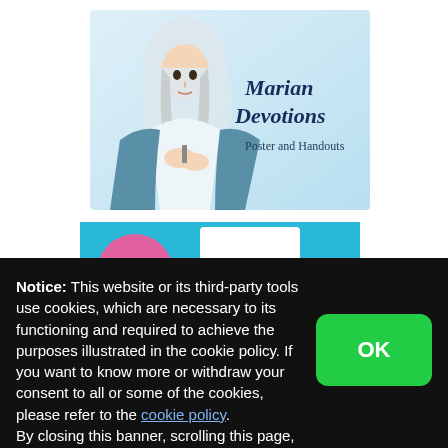[Figure (illustration): Book/poster product cover for 'Marian Devotions: Poster and Handouts' showing an illustrated image of the Virgin Mary in white and blue robes with hands clasped, with title text in dark navy italic font on a light blue background.]
[Figure (screenshot): Partial view of another product item below the first, showing a colorful banner in cyan/teal.]
Notice: This website or its third-party tools use cookies, which are necessary to its functioning and required to achieve the purposes illustrated in the cookie policy. If you want to know more or withdraw your consent to all or some of the cookies, please refer to the cookie policy.
By closing this banner, scrolling this page, clicking a link or continuing to browse otherwise, you agree to the use of cookies.